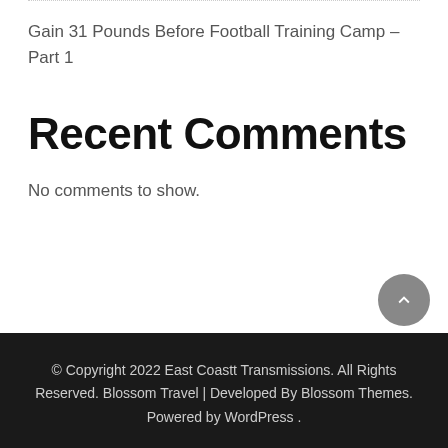Gain 31 Pounds Before Football Training Camp – Part 1
Recent Comments
No comments to show.
© Copyright 2022 East Coastt Transmissions. All Rights Reserved. Blossom Travel | Developed By Blossom Themes. Powered by WordPress .